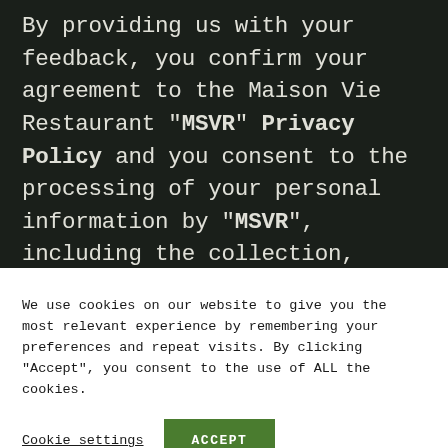By providing us with your feedback, you confirm your agreement to the Maison Vie Restaurant "MSVR" Privacy Policy and you consent to the processing of your personal information by "MSVR", including the collection, retention and usage of your name, contact
We use cookies on our website to give you the most relevant experience by remembering your preferences and repeat visits. By clicking "Accept", you consent to the use of ALL the cookies.
Cookie settings
ACCEPT